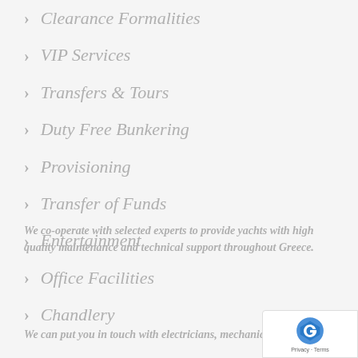Clearance Formalities
VIP Services
Transfers & Tours
Duty Free Bunkering
Provisioning
Transfer of Funds
Entertainment
Office Facilities
Chandlery
We co-operate with selected experts to provide yachts with high quality maintenance and technical support throughout Greece.
We can put you in touch with electricians, mechanics...